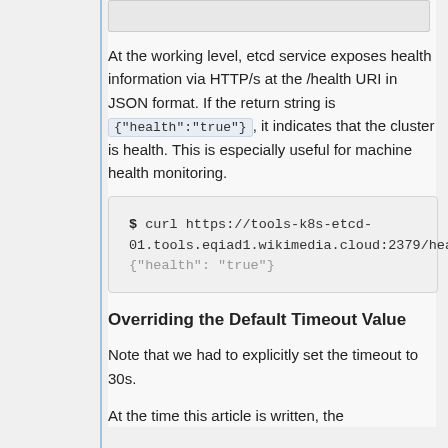At the working level, etcd service exposes health information via HTTP/s at the /health URI in JSON format. If the return string is {"health":"true"}, it indicates that the cluster is health. This is especially useful for machine health monitoring.
[Figure (screenshot): Code block showing: $ curl https://tools-k8s-etcd-01.tools.eqiad1.wikimedia.cloud:2379/health followed by output {"health": "true"}]
Overriding the Default Timeout Value
Note that we had to explicitly set the timeout to 30s.
At the time this article is written, the